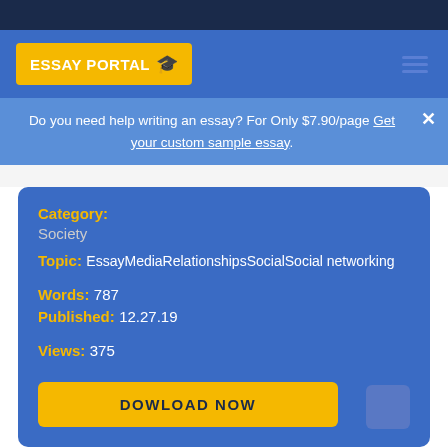ESSAY PORTAL
Do you need help writing an essay? For Only $7.90/page Get your custom sample essay.
Category: Society
Topic: EssayMediaRelationshipsSocialSocial networking
Words: 787
Published: 12.27.19
Views: 375
DOWLOAD NOW